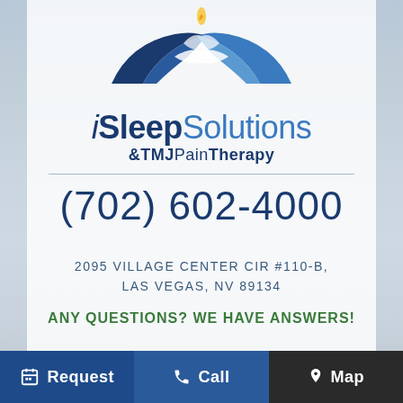[Figure (logo): iSleep Solutions & TMJ Pain Therapy logo with blue hands cradling design and flame above]
iSleep Solutions & TMJ Pain Therapy
(702) 602-4000
2095 VILLAGE CENTER CIR #110-B, LAS VEGAS, NV 89134
ANY QUESTIONS? WE HAVE ANSWERS!
Request   Call   Map